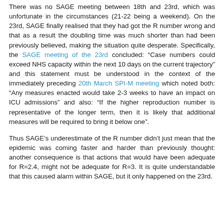There was no SAGE meeting between 18th and 23rd, which was unfortunate in the circumstances (21-22 being a weekend). On the 23rd, SAGE finally realised that they had got the R number wrong and that as a result the doubling time was much shorter than had been previously believed, making the situation quite desperate. Specifically, the SAGE meeting of the 23rd concluded: “Case numbers could exceed NHS capacity within the next 10 days on the current trajectory” and this statement must be understood in the context of the immediately preceding 20th March SPI-M meeting which noted both: “Any measures enacted would take 2-3 weeks to have an impact on ICU admissions” and also: “If the higher reproduction number is representative of the longer term, then it is likely that additional measures will be required to bring it below one”.
Thus SAGE’s underestimate of the R number didn’t just mean that the epidemic was coming faster and harder than previously thought: another consequence is that actions that would have been adequate for R=2.4, might not be adequate for R=3. It is quite understandable that this caused alarm within SAGE, but it only happened on the 23rd.